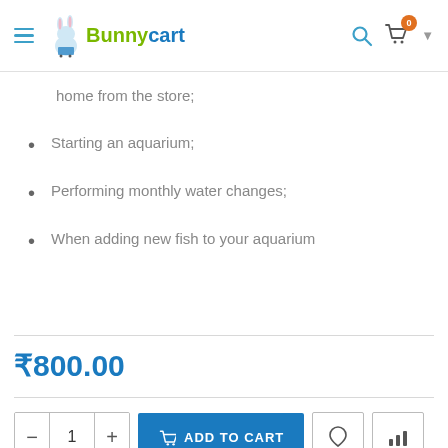Bunnycart
home from the store;
Starting an aquarium;
Performing monthly water changes;
When adding new fish to your aquarium
₹800.00